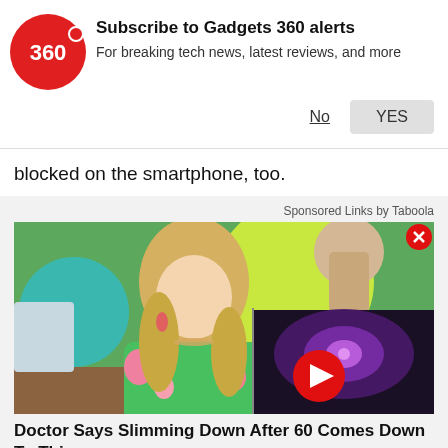[Figure (screenshot): Gadgets 360 subscription notification banner with red circular logo showing '360', bold title 'Subscribe to Gadgets 360 alerts', subtitle 'For breaking tech news, latest reviews, and more', with 'No' (underlined) and 'YES' (button) options]
blocked on the smartphone, too.
Sponsored Links by Taboola
[Figure (photo): A blonde woman in a green floral dress sitting in a colorful TV set studio, with a video player overlay in the bottom right corner showing a galaxy/space image with a red play button, and a red X close button in the top right corner]
Doctor Says Slimming Down After 60 Comes Down To This
Dr. Kellyann